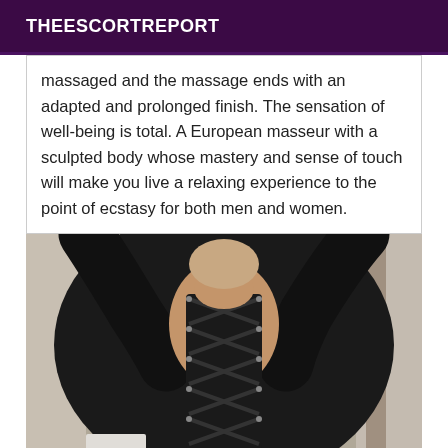THEESCORTREPORT
massaged and the massage ends with an adapted and prolonged finish. The sensation of well-being is total. A European masseur with a sculpted body whose mastery and sense of touch will make you live a relaxing experience to the point of ecstasy for both men and women.
[Figure (photo): Person wearing a black long-sleeve lace-up corset top, arms raised, photographed from the torso area.]